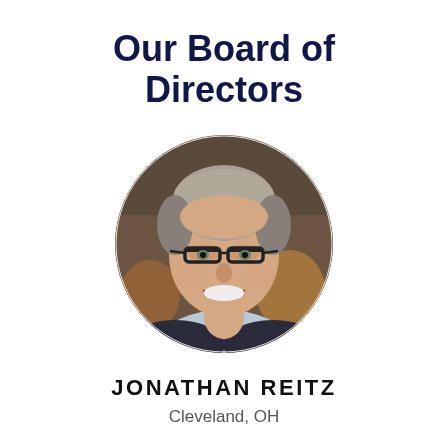Our Board of Directors
[Figure (photo): Circular headshot photo of Jonathan Reitz, a middle-aged man with short grey hair and dark-rimmed glasses, smiling, wearing a dark blazer over a light blue shirt, photographed in a blurred indoor setting.]
JONATHAN REITZ
Cleveland, OH